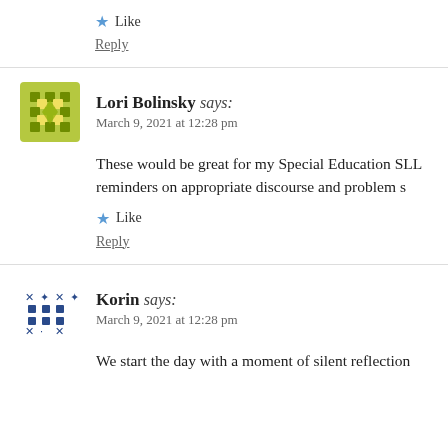★ Like
Reply
Lori Bolinsky says:
March 9, 2021 at 12:28 pm
These would be great for my Special Education SLL reminders on appropriate discourse and problem s
★ Like
Reply
Korin says:
March 9, 2021 at 12:28 pm
We start the day with a moment of silent reflection